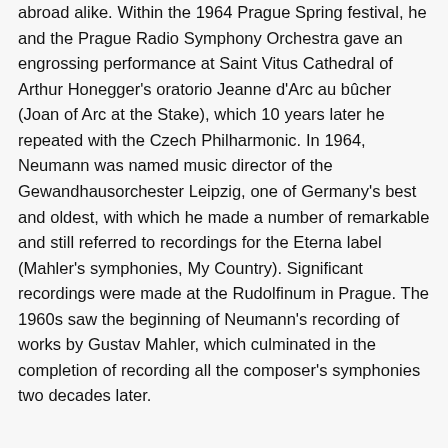abroad alike. Within the 1964 Prague Spring festival, he and the Prague Radio Symphony Orchestra gave an engrossing performance at Saint Vitus Cathedral of Arthur Honegger's oratorio Jeanne d'Arc au bûcher (Joan of Arc at the Stake), which 10 years later he repeated with the Czech Philharmonic. In 1964, Neumann was named music director of the Gewandhausorchester Leipzig, one of Germany's best and oldest, with which he made a number of remarkable and still referred to recordings for the Eterna label (Mahler's symphonies, My Country). Significant recordings were made at the Rudolfinum in Prague. The 1960s saw the beginning of Neumann's recording of works by Gustav Mahler, which culminated in the completion of recording all the composer's symphonies two decades later.